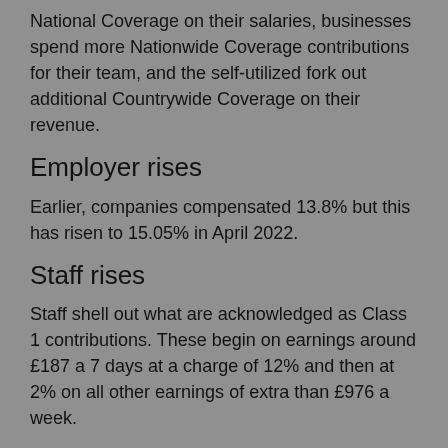National Coverage on their salaries, businesses spend more Nationwide Coverage contributions for their team, and the self-utilized fork out additional Countrywide Coverage on their revenue.
Employer rises
Earlier, companies compensated 13.8% but this has risen to 15.05% in April 2022.
Staff rises
Staff shell out what are acknowledged as Class 1 contributions. These begin on earnings around £187 a 7 days at a charge of 12% and then at 2% on all other earnings of extra than £976 a week.
At the start of April 2022, these premiums rose to 13.25% and 3.25% respectively.